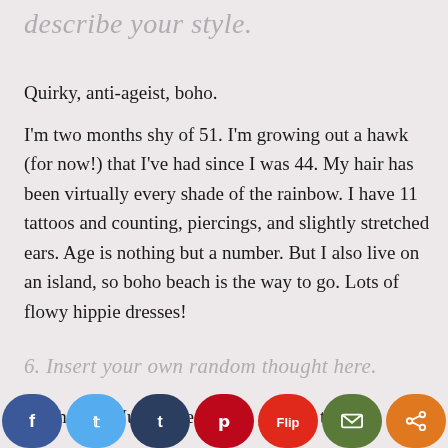describe your style.
Quirky, anti-ageist, boho.
I'm two months shy of 51. I'm growing out a hawk (for now!) that I've had since I was 44. My hair has been virtually every shade of the rainbow. I have 11 tattoos and counting, piercings, and slightly stretched ears. Age is nothing but a number. But I also live on an island, so boho beach is the way to go. Lots of flowy hippie dresses!
6. Insert your own random thought here.
No thought. Just some Pink to go with the pink
[Figure (infographic): Social media sharing bar with buttons: Facebook (blue), Twitter (light blue), Tumblr (dark blue), Pinterest (red), Flipboard (red), Email (green), Share (orange)]